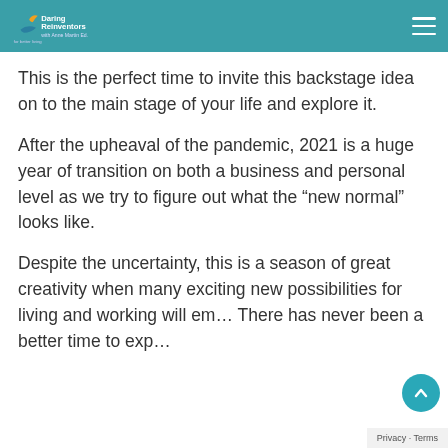Daring Reinventors with Anne Martin Ed. (tagline text)
This is the perfect time to invite this backstage idea on to the main stage of your life and explore it.
After the upheaval of the pandemic, 2021 is a huge year of transition on both a business and personal level as we try to figure out what the “new normal” looks like.
Despite the uncertainty, this is a season of great creativity when many exciting new possibilities for living and working will em… There has never been a better time to exp…